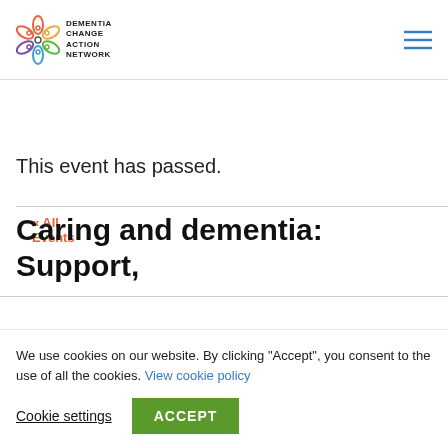Dementia Change Action Network
« All Events
This event has passed.
Caring and dementia: Support,
We use cookies on our website. By clicking "Accept", you consent to the use of all the cookies. View cookie policy
Cookie settings | ACCEPT